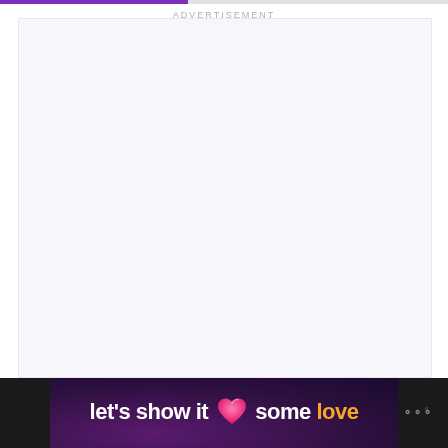ADVERTISEMENT
[Figure (other): Large blank advertisement placeholder area with light purple-gray background]
[Figure (infographic): Dark purple banner advertisement reading 'let's show it some love' with a pink heart icon and orange colored word 'love', with a logo watermark on the right side]